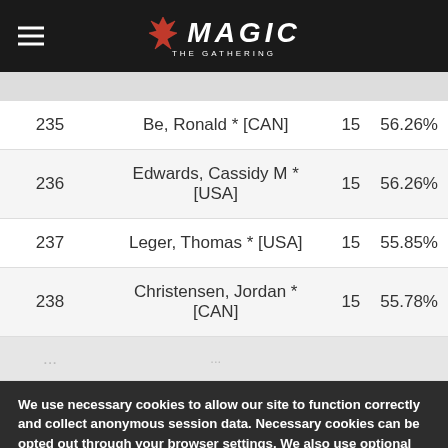Magic: The Gathering
| Rank | Name | Points | OMW% |
| --- | --- | --- | --- |
| 235 | Be, Ronald * [CAN] | 15 | 56.26% |
| 236 | Edwards, Cassidy M * [USA] | 15 | 56.26% |
| 237 | Leger, Thomas * [USA] | 15 | 55.85% |
| 238 | Christensen, Jordan * [CAN] | 15 | 55.78% |
We use necessary cookies to allow our site to function correctly and collect anonymous session data. Necessary cookies can be opted out through your browser settings. We also use optional cookies to personalize content and ads, provide social medial features and analyze web traffic. By clicking “OK, I agree,” you consent to optional cookies. (Learn more about cookies.)
OK, I agree | No, thanks